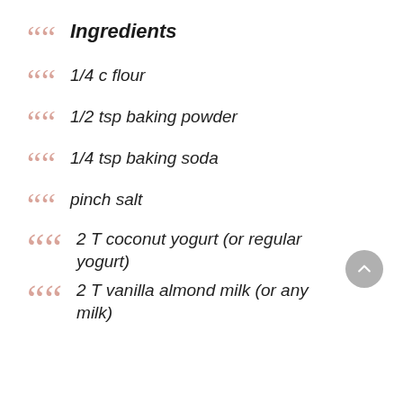Ingredients
1/4 c flour
1/2 tsp baking powder
1/4 tsp baking soda
pinch salt
2 T coconut yogurt (or regular yogurt)
2 T vanilla almond milk (or any milk)